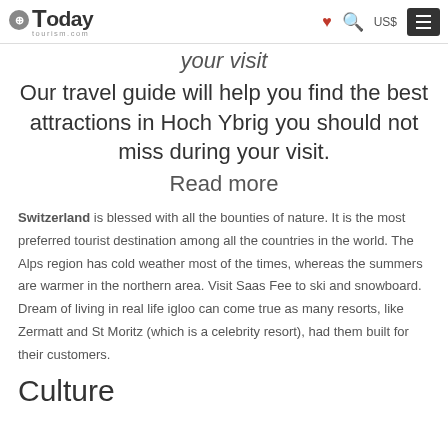Today Tourism.com — US$
your visit
Our travel guide will help you find the best attractions in Hoch Ybrig you should not miss during your visit.
Read more
Switzerland is blessed with all the bounties of nature. It is the most preferred tourist destination among all the countries in the world. The Alps region has cold weather most of the times, whereas the summers are warmer in the northern area. Visit Saas Fee to ski and snowboard. Dream of living in real life igloo can come true as many resorts, like Zermatt and St Moritz (which is a celebrity resort), had them built for their customers.
Culture